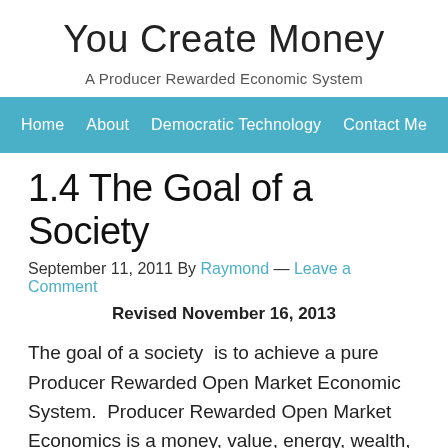You Create Money
A Producer Rewarded Economic System
Home   About   Democratic Technology   Contact Me
1.4 The Goal of a Society
September 11, 2011 By Raymond — Leave a Comment
Revised November 16, 2013
The goal of a society  is to achieve a pure Producer Rewarded Open Market Economic System.  Producer Rewarded Open Market Economics is a money, value, energy, wealth, capital and power producing system.  Producer Rewarded Open Market